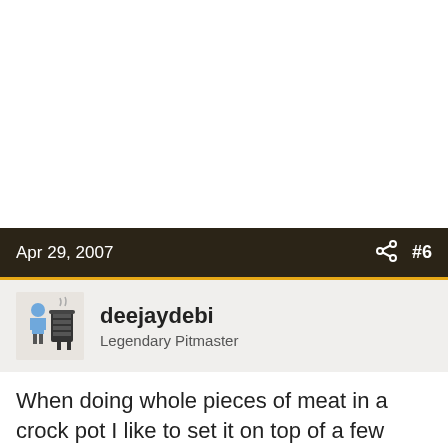Apr 29, 2007  #6
deejaydebi
Legendary Pitmaster
When doing whole pieces of meat in a crock pot I like to set it on top of a few whole carrots or halved onions to keep it off the bottom in case it gets to hot and wants to scorch. I've had a few that did! Carrots don't taste to bad cooked with the roast...